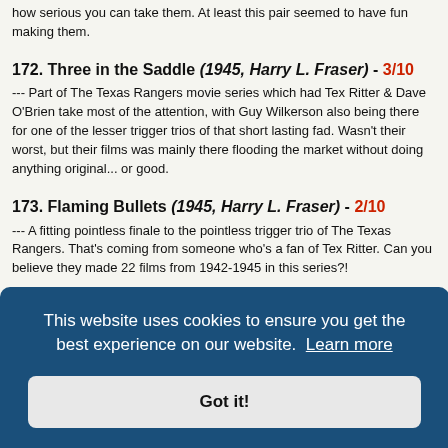how serious you can take them. At least this pair seemed to have fun making them.
172. Three in the Saddle (1945, Harry L. Fraser) - 3/10
--- Part of The Texas Rangers movie series which had Tex Ritter & Dave O'Brien take most of the attention, with Guy Wilkerson also being there for one of the lesser trigger trios of that short lasting fad. Wasn't their worst, but their films was mainly there flooding the market without doing anything original... or good.
173. Flaming Bullets (1945, Harry L. Fraser) - 2/10
--- A fitting pointless finale to the pointless trigger trio of The Texas Rangers. That's coming from someone who's a fan of Tex Ritter. Can you believe they made 22 films from 1942-1945 in this series?!
...eel, but was a e over-
This website uses cookies to ensure you get the best experience on our website. Learn more
Got it!